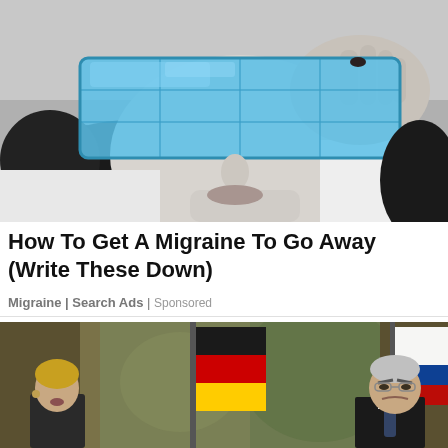[Figure (photo): Black and white photo of a woman lying down holding a blue ice/gel pack over her eyes with one hand, black hair spread out, wearing white clothing]
How To Get A Migraine To Go Away (Write These Down)
Migraine | Search Ads | Sponsored
[Figure (photo): Color photo of two people standing at a press conference in front of ornate tapestry backdrop, German flag (black, red, gold) and white flag visible; woman on left speaking, man on right in suit with tie looking stern]